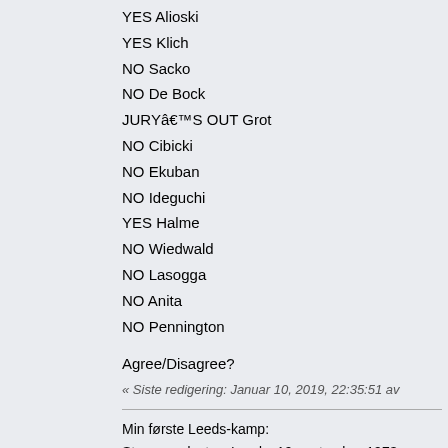YES Alioski
YES Klich
NO Sacko
NO De Bock
JURYâ€™S OUT Grot
NO Cibicki
NO Ekuban
NO Ideguchi
YES Halme
NO Wiedwald
NO Lasogga
NO Anita
NO Pennington
Agree/Disagree?
« Siste redigering: Januar 10, 2019, 22:35:51 av
Min første Leeds-kamp:
Strømsgodset vs Leeds, 19.september 1973
Promotion 2010
Moderator
Lorimer
Sv: Sporting Director: Victor Orta
« Svar #46 på: Januar 09, 2019, 12:03:10
Tomkinsâ€™ Law: Only 40% of Transfers